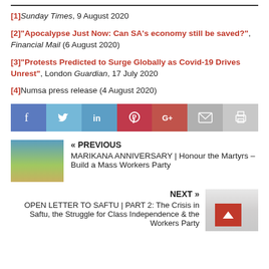[1] Sunday Times, 9 August 2020
[2] "Apocalypse Just Now: Can SA's economy still be saved?", Financial Mail (6 August 2020)
[3] "Protests Predicted to Surge Globally as Covid-19 Drives Unrest", London Guardian, 17 July 2020
[4] Numsa press release (4 August 2020)
[Figure (infographic): Social sharing bar with icons: Facebook, Twitter, LinkedIn, Pinterest, Google+, Email, Print]
[Figure (infographic): Previous article navigation with thumbnail image of Marikana landscape. Title: MARIKANA ANNIVERSARY | Honour the Martyrs - Build a Mass Workers Party]
[Figure (infographic): Next article navigation with thumbnail image. Title: OPEN LETTER TO SAFTU | PART 2: The Crisis in Saftu, the Struggle for Class Independence & the Workers Party]